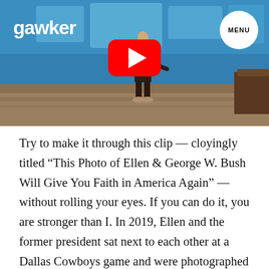gawker
[Figure (screenshot): YouTube video thumbnail showing Ellen DeGeneres standing on her TV show stage with blue backdrop panels. A large red YouTube play button is centered on the image. The Gawker logo appears in white in the top left. A circular MENU button appears in the top right.]
Try to make it through this clip — cloyingly titled “This Photo of Ellen & George W. Bush Will Give You Faith in America Again” — without rolling your eyes. If you can do it, you are stronger than I. In 2019, Ellen and the former president sat next to each other at a Dallas Cowboys game and were photographed looking awfully chummy. People were upset by this, so Ellen used her monologue to address